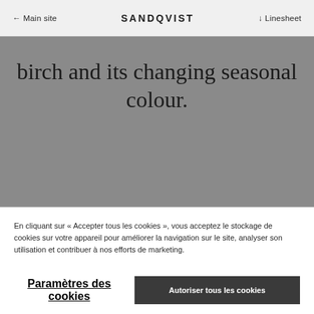← Main site   SANDQVIST   ↓ Linesheet
birch and its changing seasonal colour.
En cliquant sur « Accepter tous les cookies », vous acceptez le stockage de cookies sur votre appareil pour améliorer la navigation sur le site, analyser son utilisation et contribuer à nos efforts de marketing.
Paramètres des cookies
Autoriser tous les cookies